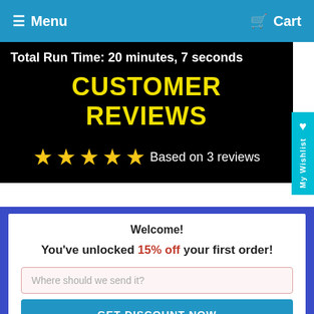≡ Menu   🛒 Cart
Total Run Time: 20 minutes, 7 seconds
CUSTOMER REVIEWS
★★★★★ Based on 3 reviews
Welcome!
You've unlocked 15% off your first order!
Where should we send it?
GET DISCOUNT NOW